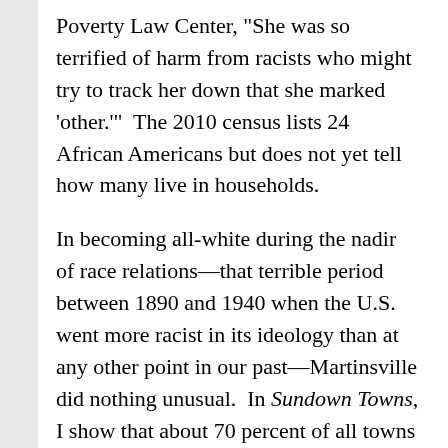Poverty Law Center, "She was so terrified of harm from racists who might try to track her down that she marked 'other.'"  The 2010 census lists 24 African Americans but does not yet tell how many live in households.
In becoming all-white during the nadir of race relations—that terrible period between 1890 and 1940 when the U.S. went more racist in its ideology than at any other point in our past—Martinsville did nothing unusual.  In Sundown Towns, I show that about 70 percent of all towns in neighboring Illinois went sundown by 1940, including the Martinsville in